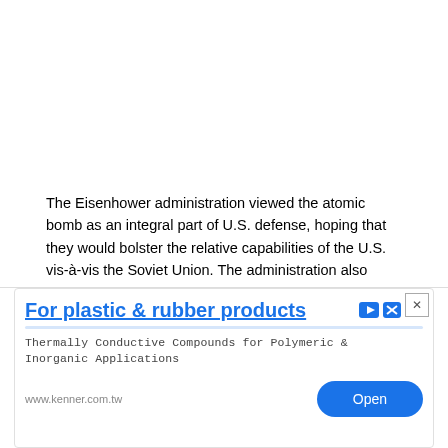The Eisenhower administration viewed the atomic bomb as an integral part of U.S. defense, hoping that they would bolster the relative capabilities of the U.S. vis-à-vis the Soviet Union. The administration also reserved the prospects of using them, in effect, as a weapon of first resort, hoping to gain the initiative while reducing costs. By wielding the nation's nuclear superiority, the new Eisenhower-Dulles approach was a cheaper form of containment geared toward offering Americans "more bang for the buck."
[Figure (other): Advertisement banner for plastic and rubber products from kenner.com.tw with title 'For plastic & rubber products', subtitle 'Thermally Conductive Compounds for Polymeric & Inorganic Applications', URL www.kenner.com.tw, and an Open button.]